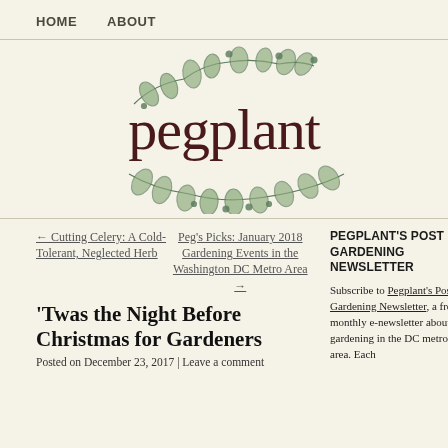HOME   ABOUT
[Figure (logo): Pegplant blog logo with botanical leaf/branch illustrations surrounding the text 'pegplant' in a serif font]
← Cutting Celery: A Cold-Tolerant, Neglected Herb
Peg's Picks: January 2018 Gardening Events in the Washington DC Metro Area →
PEGPLANT'S POST GARDENING NEWSLETTER
Subscribe to Pegplant's Post Gardening Newsletter, a free, monthly e-newsletter about gardening in the DC metro area. Each
'Twas the Night Before Christmas for Gardeners
Posted on December 23, 2017 | Leave a comment